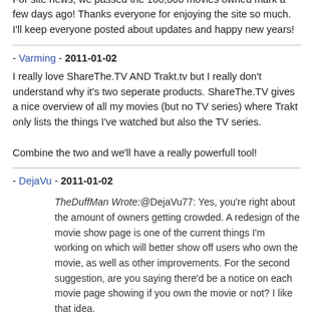redesigning the movie page.

For site news, we passed the 100,000 movies owned mark a few days ago! Thanks everyone for enjoying the site so much. I'll keep everyone posted about updates and happy new years!
- Varming - 2011-01-02
I really love ShareThe.TV AND Trakt.tv but I really don't understand why it's two seperate products. ShareThe.TV gives a nice overview of all my movies (but no TV series) where Trakt only lists the things I've watched but also the TV series.

Combine the two and we'll have a really powerfull tool!
- DejaVu - 2011-01-02
TheDuffMan Wrote:@DejaVu77: Yes, you're right about the amount of owners getting crowded. A redesign of the movie show page is one of the current things I'm working on which will better show off users who own the movie, as well as other improvements. For the second suggestion, are you saying there'd be a notice on each movie page showing if you own the movie or not? I like that idea.
Great news. And yes, 2nd suggestion - spot on!